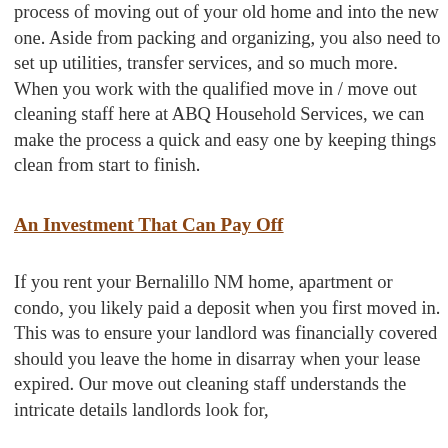process of moving out of your old home and into the new one. Aside from packing and organizing, you also need to set up utilities, transfer services, and so much more. When you work with the qualified move in / move out cleaning staff here at ABQ Household Services, we can make the process a quick and easy one by keeping things clean from start to finish.
An Investment That Can Pay Off
If you rent your Bernalillo NM home, apartment or condo, you likely paid a deposit when you first moved in. This was to ensure your landlord was financially covered should you leave the home in disarray when your lease expired. Our move out cleaning staff understands the intricate details landlords look for,